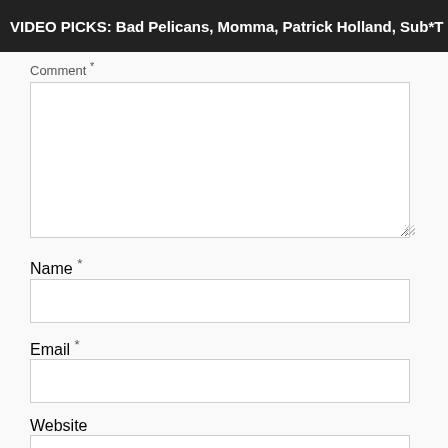VIDEO PICKS: Bad Pelicans, Momma, Patrick Holland, Sub*T
Comment *
Name *
Email *
Website
Notify me of follow-up comments by email.